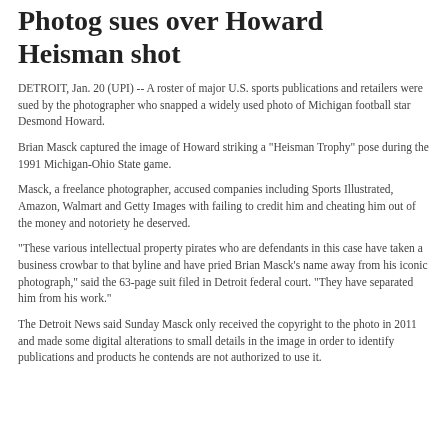Photog sues over Howard Heisman shot
DETROIT, Jan. 20 (UPI) -- A roster of major U.S. sports publications and retailers were sued by the photographer who snapped a widely used photo of Michigan football star Desmond Howard.
Brian Masck captured the image of Howard striking a "Heisman Trophy" pose during the 1991 Michigan-Ohio State game.
Masck, a freelance photographer, accused companies including Sports Illustrated, Amazon, Walmart and Getty Images with failing to credit him and cheating him out of the money and notoriety he deserved.
"These various intellectual property pirates who are defendants in this case have taken a business crowbar to that byline and have pried Brian Masck's name away from his iconic photograph," said the 63-page suit filed in Detroit federal court. "They have separated him from his work."
The Detroit News said Sunday Masck only received the copyright to the photo in 2011 and made some digital alterations to small details in the image in order to identify publications and products he contends are not authorized to use it.